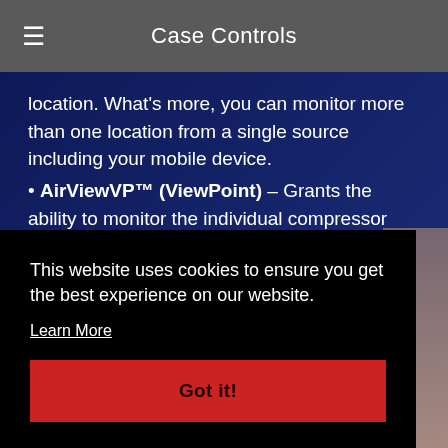Case Controls
location. What's more, you can monitor more than one location from a single source including your mobile device.
AirViewVP™ (ViewPoint) – Grants the ability to monitor the individual compressor controllers via a web browser on any PC on the same network.
This website uses cookies to ensure you get the best experience on our website.
Learn More
Got it!